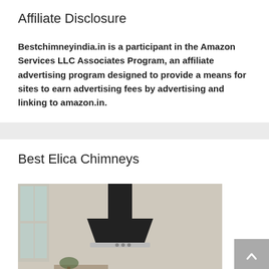Affiliate Disclosure
Bestchimneyindia.in is a participant in the Amazon Services LLC Associates Program, an affiliate advertising program designed to provide a means for sites to earn advertising fees by advertising and linking to amazon.in.
Best Elica Chimneys
[Figure (photo): Photo of a black kitchen chimney/range hood mounted on a wall in a kitchen setting]